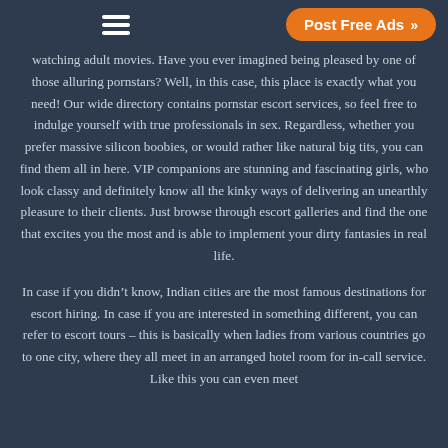Post Free Ads >>
watching adult movies. Have you ever imagined being pleased by one of those alluring pornstars? Well, in this case, this place is exactly what you need! Our wide directory contains pornstar escort services, so feel free to indulge yourself with true professionals in sex. Regardless, whether you prefer massive silicon boobies, or would rather like natural big tits, you can find them all in here. VIP companions are stunning and fascinating girls, who look classy and definitely know all the kinky ways of delivering an unearthly pleasure to their clients. Just browse through escort galleries and find the one that excites you the most and is able to implement your dirty fantasies in real life.
In case if you didn’t know, Indian cities are the most famous destinations for escort hiring. In case if you are interested in something different, you can refer to escort tours – this is basically when ladies from various countries go to one city, where they all meet in an arranged hotel room for in-call service. Like this you can even meet